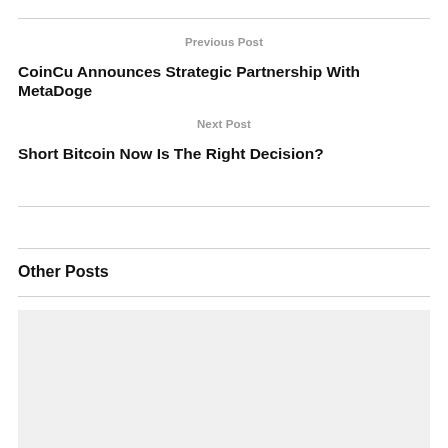Previous Post
CoinCu Announces Strategic Partnership With MetaDoge
Next Post
Short Bitcoin Now Is The Right Decision?
Other Posts
[Figure (photo): Thumbnail placeholder image (light gray)]